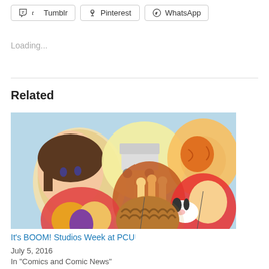Tumblr   Pinterest   WhatsApp
Loading...
Related
[Figure (illustration): Collage illustration of various cartoon characters on balloon-like medallions including Snoopy, Garfield, Winnie the Pooh, and others on a light blue background]
It's BOOM! Studios Week at PCU
July 5, 2016
In "Comics and Comic News"